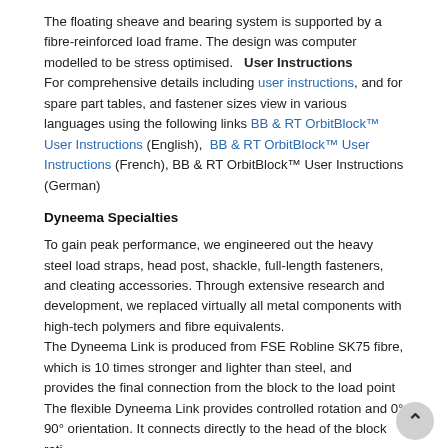The floating sheave and bearing system is supported by a fibre-reinforced load frame. The design was computer modelled to be stress optimised.   User Instructions
For comprehensive details including user instructions, and for spare part tables, and fastener sizes view in various languages using the following links BB & RT OrbitBlock™ User Instructions (English),  BB & RT OrbitBlock™ User Instructions (French), BB & RT OrbitBlock™ User Instructions (German)
Dyneema Specialties
To gain peak performance, we engineered out the heavy steel load straps, head post, shackle, full-length fasteners, and cleating accessories. Through extensive research and development, we replaced virtually all metal components with high-tech polymers and fibre equivalents.
The Dyneema Link is produced from FSE Robline SK75 fibre, which is 10 times stronger and lighter than steel, and provides the final connection from the block to the load point
The flexible Dyneema Link provides controlled rotation and 0° 90° orientation. It connects directly to the head of the block rati... than to an intermediate head post. This reduces weight and gives